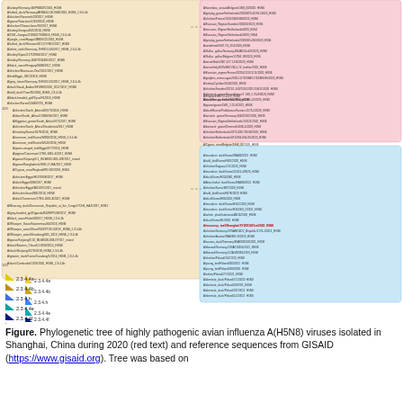[Figure (other): Phylogenetic tree of highly pathogenic avian influenza A(H5N8) viruses. The tree shows a large clade highlighted in light orange/yellow on the left with many strain labels, and two zoomed clades on the right: a pink-highlighted clade (top right) and a blue-highlighted clade (bottom right). A legend at the bottom left shows colored triangles for clades 2.3.4.4a through 2.3.4.4g and 2.3.4a and 2.3.4c. One strain label in the blue clade is highlighted in red text (A/muscovy_teal/Shanghai/XY20S1021m/2020_H5N8). Branch lengths and bootstrap values are shown.]
Figure. Phylogenetic tree of highly pathogenic avian influenza A(H5N8) viruses isolated in Shanghai, China during 2020 (red text) and reference sequences from GISAID (https://www.gisaid.org). Tree was based on